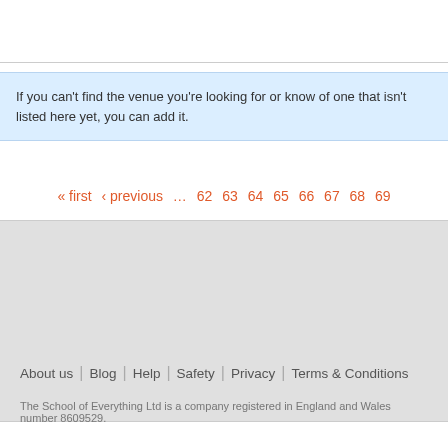If you can't find the venue you're looking for or know of one that isn't listed here yet, you can add it.
« first ‹ previous … 62 63 64 65 66 67 68 69
About us | Blog | Help | Safety | Privacy | Terms & Conditions
The School of Everything Ltd is a company registered in England and Wales number 8609529.